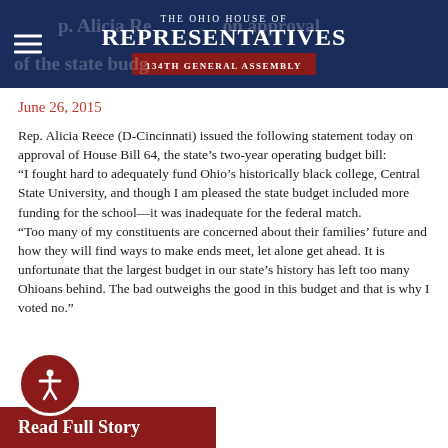THE OHIO HOUSE OF REPRESENTATIVES 134TH GENERAL ASSEMBLY
Rep. Alicia Reece statement on approval of the state budget
June 26, 2015
Rep. Alicia Reece (D-Cincinnati) issued the following statement today on approval of House Bill 64, the state’s two-year operating budget bill: “I fought hard to adequately fund Ohio’s historically black college, Central State University, and though I am pleased the state budget included more funding for the school—it was inadequate for the federal match. “Too many of my constituents are concerned about their families’ future and how they will find ways to make ends meet, let alone get ahead. It is unfortunate that the largest budget in our state’s history has left too many Ohioans behind. The bad outweighs the good in this budget and that is why I voted no.”
Read Full Story